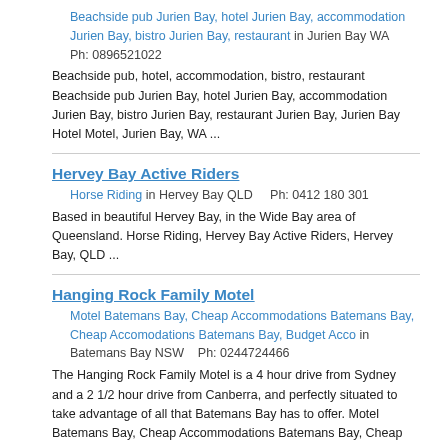Beachside pub Jurien Bay, hotel Jurien Bay, accommodation Jurien Bay, bistro Jurien Bay, restaurant in Jurien Bay WA    Ph: 0896521022
Beachside pub, hotel, accommodation, bistro, restaurant Beachside pub Jurien Bay, hotel Jurien Bay, accommodation Jurien Bay, bistro Jurien Bay, restaurant Jurien Bay, Jurien Bay Hotel Motel, Jurien Bay, WA ...
Hervey Bay Active Riders
Horse Riding in Hervey Bay QLD    Ph: 0412 180 301
Based in beautiful Hervey Bay, in the Wide Bay area of Queensland. Horse Riding, Hervey Bay Active Riders, Hervey Bay, QLD ...
Hanging Rock Family Motel
Motel Batemans Bay, Cheap Accommodations Batemans Bay, Cheap Accomodations Batemans Bay, Budget Acco in Batemans Bay NSW    Ph: 0244724466
The Hanging Rock Family Motel is a 4 hour drive from Sydney and a 2 1/2 hour drive from Canberra, and perfectly situated to take advantage of all that Batemans Bay has to offer. Motel Batemans Bay, Cheap Accommodations Batemans Bay, Cheap Accomodations Batemans Bay, Budget Accommodation Batemans ...
Anchor Bay Motel
Motel in Greenwell Point NSW    Ph: 02 4447 1722
Motel. Anchor Bay Motel. Greenwell Point. NSW